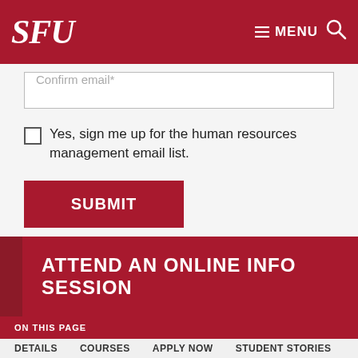SFU — MENU (search icon)
Confirm email*
Yes, sign me up for the human resources management email list.
SUBMIT
About our Collection of Personal Information policy.
ATTEND AN ONLINE INFO SESSION
ON THIS PAGE
DETAILS   COURSES   APPLY NOW   STUDENT STORIES